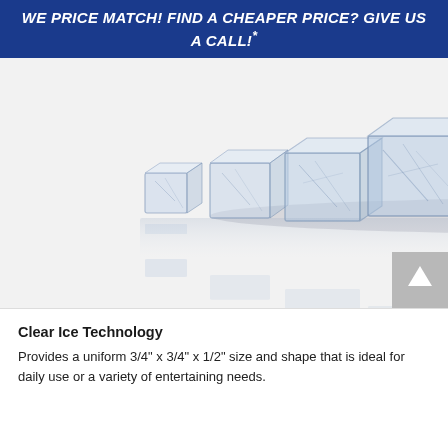WE PRICE MATCH! FIND A CHEAPER PRICE? GIVE US A CALL!*
[Figure (photo): Black and white photograph of multiple clear ice cubes arranged in a row on a reflective surface, with reflections visible beneath them, fading from smaller to larger cubes left to right.]
Clear Ice Technology
Provides a uniform 3/4" x 3/4" x 1/2" size and shape that is ideal for daily use or a variety of entertaining needs.